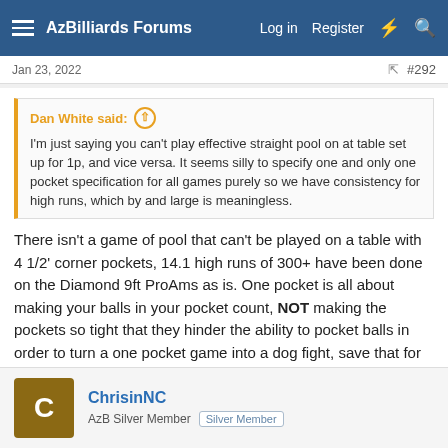AzBilliards Forums — Log in  Register
Jan 23, 2022  #292
Dan White said: ↑
I'm just saying you can't play effective straight pool on at table set up for 1p, and vice versa. It seems silly to specify one and only one pocket specification for all games purely so we have consistency for high runs, which by and large is meaningless.
There isn't a game of pool that can't be played on a table with 4 1/2' corner pockets, 14.1 high runs of 300+ have been done on the Diamond 9ft ProAms as is. One pocket is all about making your balls in your pocket count, NOT making the pockets so tight that they hinder the ability to pocket balls in order to turn a one pocket game into a dog fight, save that for the ONE table in the pool room reserved for gambling on, because no ones going to play on it for the fun of it anyway.
ChrisinNC
AzB Silver Member  Silver Member